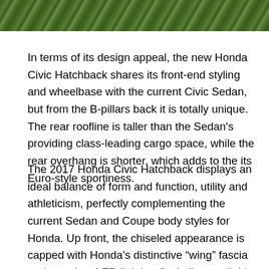[Figure (photo): A strip of green grass/vegetation at the top of the page]
In terms of its design appeal, the new Honda Civic Hatchback shares its front-end styling and wheelbase with the current Civic Sedan, but from the B-pillars back it is totally unique. The rear roofline is taller than the Sedan's providing class-leading cargo space, while the rear overhang is shorter, which adds to the its Euro-style sportiness.
The 2017 Honda Civic Hatchback displays an ideal balance of form and function, utility and athleticism, perfectly complementing the current Sedan and Coupe body styles for Honda. Up front, the chiseled appearance is capped with Honda's distinctive “wing” fascia and premium LED lighting (including available LED in-line headlights and integrated side-mirror mounted turn indicators on the Sport Touring trim). Fog lights are included on all but the base LX model